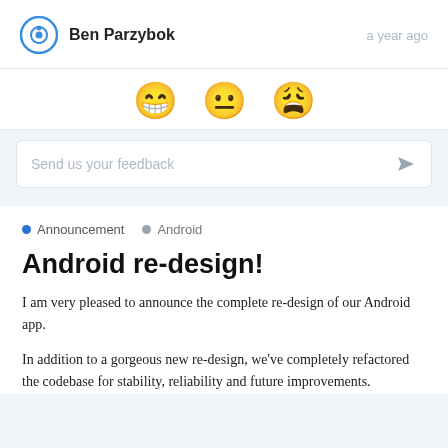Ben Parzybok   a year ago
[Figure (illustration): Three emoji faces: grinning face, neutral face, weary/exhausted face]
Send us your feedback
• Announcement   • Android
Android re-design!
I am very pleased to announce the complete re-design of our Android app.
In addition to a gorgeous new re-design, we've completely refactored the codebase for stability, reliability and future improvements.